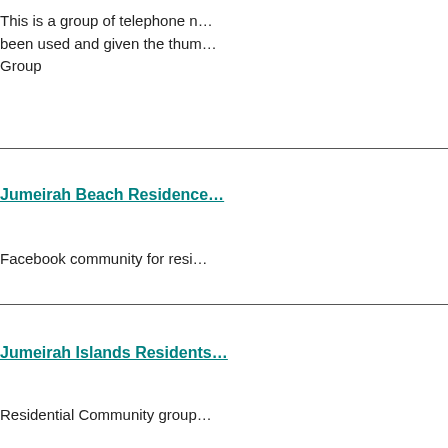This is a group of telephone n... been used and given the thum... Group
Jumeirah Beach Residence...
Facebook community for resi...
Jumeirah Islands Residents...
Residential Community group...
Jumeirah Lake Towers...